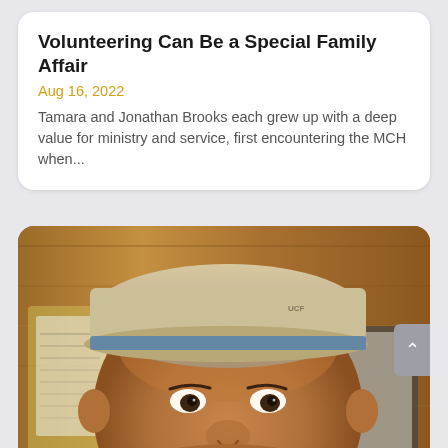Volunteering Can Be a Special Family Affair
Aug 16, 2022
Tamara and Jonathan Brooks each grew up with a deep value for ministry and service, first encountering the MCH when...
[Figure (photo): Close-up photo of a middle-aged man wearing a light-colored baseball cap with a blue sweatband, with wood-paneled walls and papers visible in the background.]